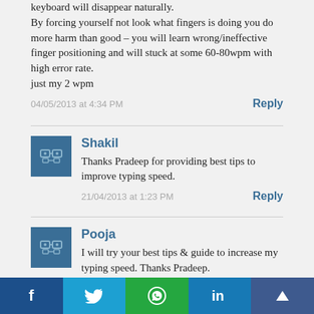keyboard will disappear naturally.
By forcing yourself not look what fingers is doing you do more harm than good – you will learn wrong/ineffective finger positioning and will stuck at some 60-80wpm with high error rate.
just my 2 wpm
04/05/2013 at 4:34 PM
Reply
Shakil
Thanks Pradeep for providing best tips to improve typing speed.
21/04/2013 at 1:23 PM
Reply
Pooja
I will try your best tips & guide to increase my typing speed. Thanks Pradeep.
21/04/2013 at 1:24 PM
Reply